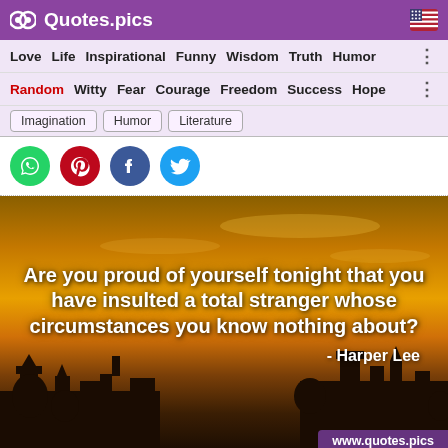Quotes.pics
Love  Life  Inspirational  Funny  Wisdom  Truth  Humor
Random  Witty  Fear  Courage  Freedom  Success  Hope
Imagination  Humor  Literature
[Figure (screenshot): Social share icons: WhatsApp, Pinterest, Facebook, Twitter]
[Figure (photo): Quote image with sunset/dusk sky and castle silhouette background. Text reads: Are you proud of yourself tonight that you have insulted a total stranger whose circumstances you know nothing about? - Harper Lee. Website: www.quotes.pics]